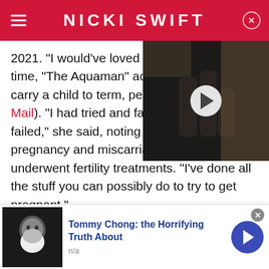NICKI SWIFT
2021. "I would've loved 10 kids" ... time, "The Aquaman" actor tho... carry a child to term, per "This... Mail). "I had tried and failed and failed and failed," she said, noting she had an ectopic pregnancy and miscarriages, and underwent fertility treatments. "I've done all the stuff you can possibly do to try to get pregnant."
[Figure (screenshot): Video thumbnail with play button showing a person making a peace sign gesture]
[Figure (infographic): Advertisement: Tommy Chong: the Horrifying Truth About. Shows a thumbnail of Tommy Chong, text n/a, and a blue arrow button.]